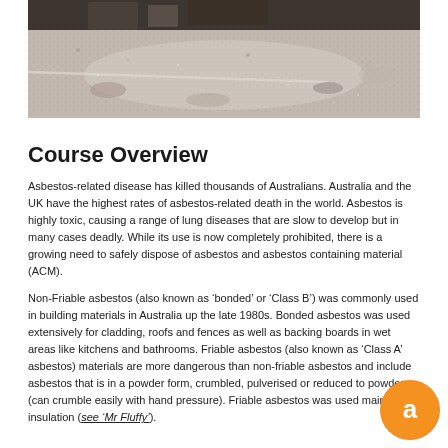[Figure (photo): Photograph showing asbestos insulation material — grey, granular fibrous material spread across a surface with some construction/building elements visible at the top of the image.]
Course Overview
Asbestos-related disease has killed thousands of Australians. Australia and the UK have the highest rates of asbestos-related death in the world. Asbestos is highly toxic, causing a range of lung diseases that are slow to develop but in many cases deadly. While its use is now completely prohibited, there is a growing need to safely dispose of asbestos and asbestos containing material (ACM).
Non-Friable asbestos (also known as 'bonded' or 'Class B') was commonly used in building materials in Australia up the late 1980s. Bonded asbestos was used extensively for cladding, roofs and fences as well as backing boards in wet areas like kitchens and bathrooms. Friable asbestos (also known as 'Class A' asbestos) materials are more dangerous than non-friable asbestos and include asbestos that is in a powder form, crumbled, pulverised or reduced to powder (can crumble easily with hand pressure). Friable asbestos was used mainly for insulation (see 'Mr Fluffy').
[Figure (logo): Orange circular chat bubble logo with a lowercase letter 'a' inside, positioned in bottom right corner.]